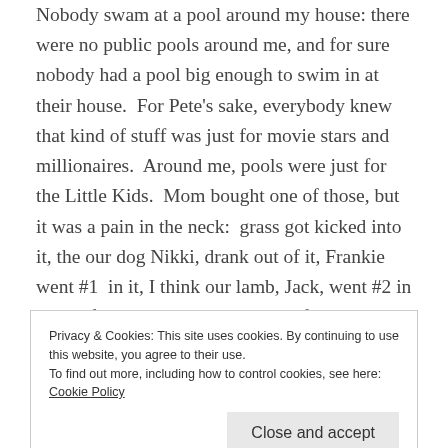Nobody swam at a pool around my house: there were no public pools around me, and for sure nobody had a pool big enough to swim in at their house. For Pete's sake, everybody knew that kind of stuff was just for movie stars and millionaires. Around me, pools were just for the Little Kids. Mom bought one of those, but it was a pain in the neck: grass got kicked into it, the our dog Nikki, drank out of it, Frankie went #1 in it, I think our lamb, Jack, went #2 in it, and finally it sprang a leak and failed to hold any water at all. Like I said, Mom bought one. Once.
Privacy & Cookies: This site uses cookies. By continuing to use this website, you agree to their use.
To find out more, including how to control cookies, see here: Cookie Policy
For one thing, everybody had on shorts and jeans over